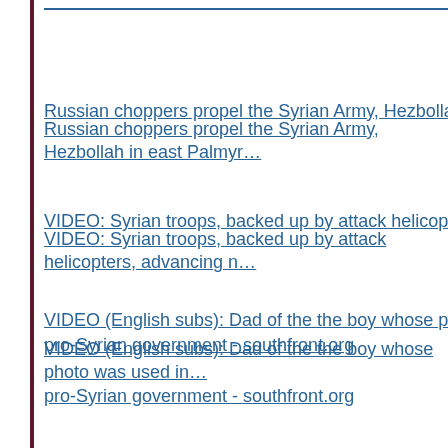Russian choppers propel the Syrian Army, Hezbollah in east Palmyr…
VIDEO: Syrian troops, backed up by attack helicopters, advancing n…
VIDEO (English subs): Dad of the the boy whose photo was used in… pro-Syrian government - southfront.org
--------------------------------------------------------
US-backed Kurdish fighters advance along Euph…
U.S.-backed Syrian fighters reach Old City walls i…